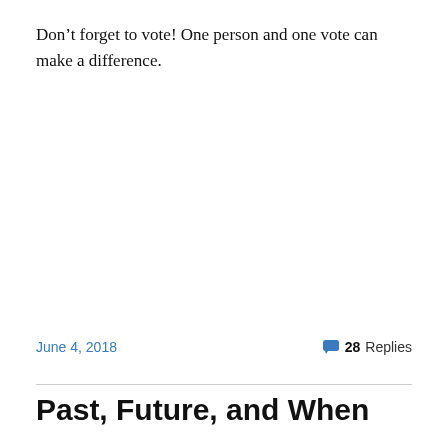Don’t forget to vote! One person and one vote can make a difference.
June 4, 2018   💬 28 Replies
Past, Future, and When